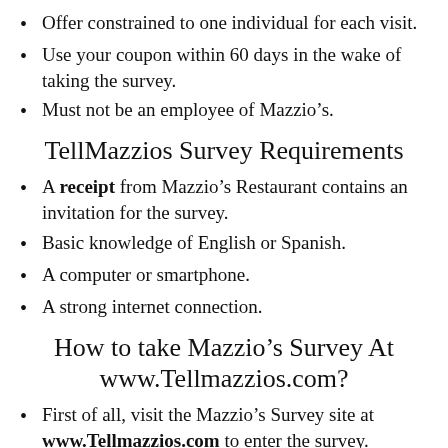Offer constrained to one individual for each visit.
Use your coupon within 60 days in the wake of taking the survey.
Must not be an employee of Mazzio’s.
TellMazzios Survey Requirements
A receipt from Mazzio’s Restaurant contains an invitation for the survey.
Basic knowledge of English or Spanish.
A computer or smartphone.
A strong internet connection.
How to take Mazzio’s Survey At www.Tellmazzios.com?
First of all, visit the Mazzio’s Survey site at www.Tellmazzios.com to enter the survey.
Enter the 5-digit serial number printed on your receipt.